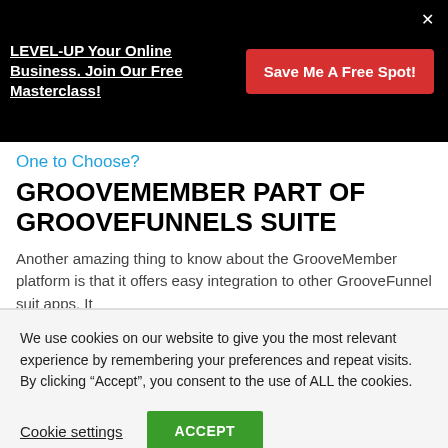LEVEL-UP Your Online Business. Join Our Free Masterclass!
Save Me A Free Spot!
One to Choose?
GROOVEMEMBER PART OF GROOVEFUNNELS SUITE
Another amazing thing to know about the GrooveMember platform is that it offers easy integration to other GrooveFunnel suit apps. It
We use cookies on our website to give you the most relevant experience by remembering your preferences and repeat visits. By clicking “Accept”, you consent to the use of ALL the cookies.
Cookie settings
ACCEPT